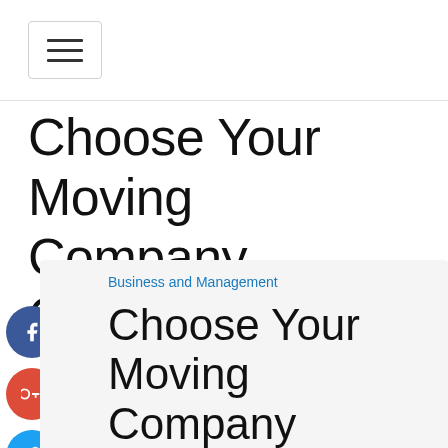☰ (hamburger menu icon)
Choose Your Moving Company Carefully
[Figure (infographic): Social media sharing icons: Facebook (blue circle with f), Google+ (red circle with g+), Twitter (blue circle with bird), Plus/Share (blue circle with +)]
Business and Management
Choose Your Moving Company